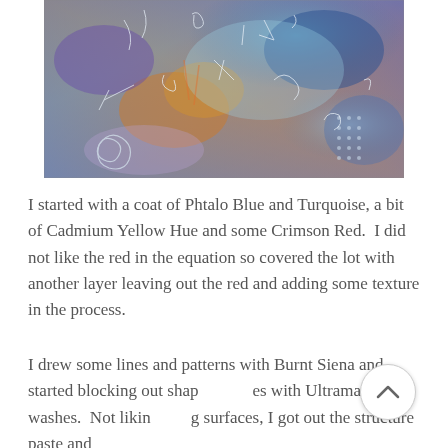[Figure (photo): Abstract painting with blues, purples, oranges, and browns showing layered paint with textures, marks, and patterns — spiral shapes, grid marks, gestural lines in iridescent colors.]
I started with a coat of Phtalo Blue and Turquoise, a bit of Cadmium Yellow Hue and some Crimson Red.  I did not like the red in the equation so covered the lot with another layer leaving out the red and adding some texture in the process.
I drew some lines and patterns with Burnt Siena and started blocking out shapes with Ultramarine washes.  Not liking surfaces, I got out the structure paste and